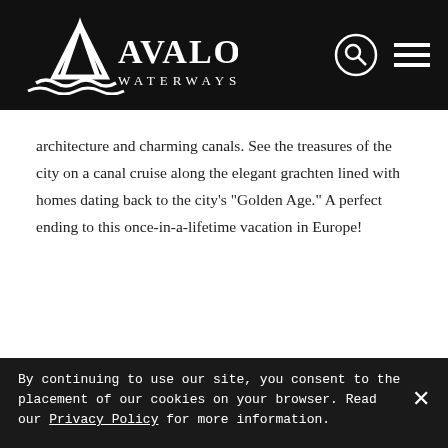Avalon Waterways
architecture and charming canals. See the treasures of the city on a canal cruise along the elegant grachten lined with homes dating back to the city’s “Golden Age.” A perfect ending to this once-in-a-lifetime vacation in Europe!
By continuing to use our site, you consent to the placement of our cookies on your browser. Read our Privacy Policy for more information.